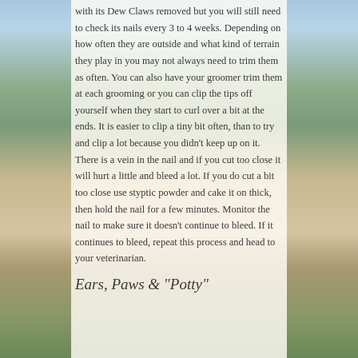with its Dew Claws removed but you will still need to check its nails every 3 to 4 weeks. Depending on how often they are outside and what kind of terrain they play in you may not always need to trim them as often. You can also have your groomer trim them at each grooming or you can clip the tips off yourself when they start to curl over a bit at the ends. It is easier to clip a tiny bit often, than to try and clip a lot because you didn't keep up on it. There is a vein in the nail and if you cut too close it will hurt a little and bleed a lot. If you do cut a bit too close use styptic powder and cake it on thick, then hold the nail for a few minutes. Monitor the nail to make sure it doesn't continue to bleed. If it continues to bleed, repeat this process and head to your veterinarian.
Ears, Paws & "Potty"